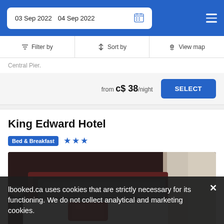03 Sep 2022   04 Sep 2022
Filter by   Sort by   View map
Central Pier.
from c$ 38/night
SELECT
King Edward Hotel
Bed & Breakfast ★★★
[Figure (photo): Hotel room with double bed, dark wood headboard, red pillows on white bedding, and bright window in background.]
lbooked.ca uses cookies that are strictly necessary for its functioning. We do not collect analytical and marketing cookies.